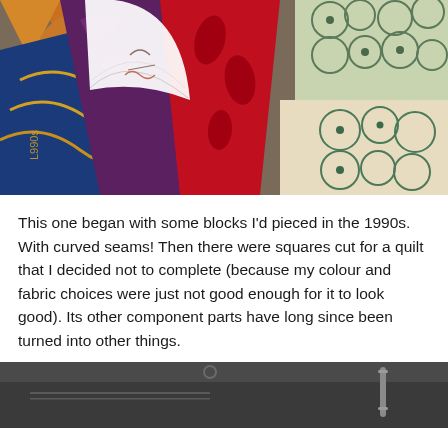[Figure (photo): Close-up photo of a colorful patchwork quilt with various fabric patterns including Japanese-style prints, florals, circles, and geometric designs in blues, reds, purples, oranges, and greens. A white fan-shaped piece is visible in the upper left area.]
This one began with some blocks I'd pieced in the 1990s. With curved seams! Then there were squares cut for a quilt that I decided not to complete (because my colour and fabric choices were just not good enough for it to look good). Its other component parts have long since been turned into other things.
[Figure (photo): Partial photo of what appears to be a dark grey or charcoal colored piece of equipment or furniture, visible only at the bottom of the page.]